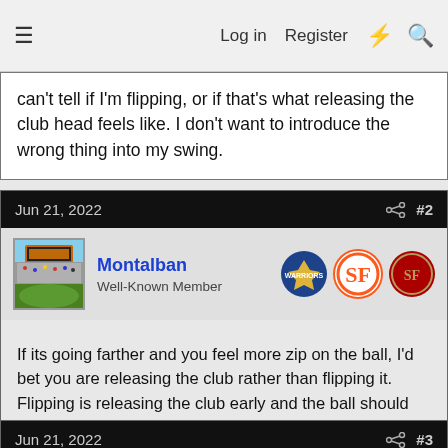≡  Log in  Register  ⚡  🔍
can't tell if I'm flipping, or if that's what releasing the club head feels like. I don't want to introduce the wrong thing into my swing.
Jun 21, 2022  #2
Montalban
Well-Known Member
If its going farther and you feel more zip on the ball, I'd bet you are releasing the club rather than flipping it. Flipping is releasing the club early and the ball should go weekly to the left. You definitely would not feel what you said you were feeling if you were flipping the club.
Jun 21, 2022  #3
MTVike